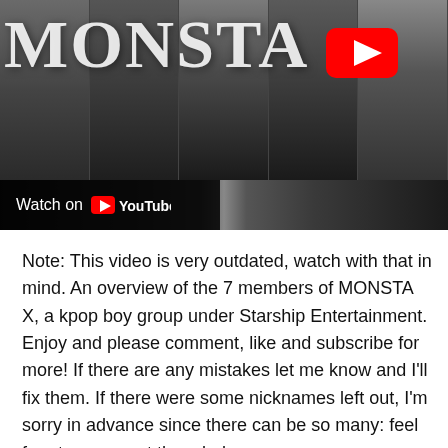[Figure (screenshot): Black and white YouTube video thumbnail showing 5 members of MONSTA X kpop group with large 'MONSTA' text overlay, a red YouTube play button in the top right, and a 'Watch on YouTube' bar at the bottom left.]
Note: This video is very outdated, watch with that in mind. An overview of the 7 members of MONSTA X, a kpop boy group under Starship Entertainment. Enjoy and please comment, like and subscribe for more! If there are any mistakes let me know and I'll fix them. If there were some nicknames left out, I'm sorry in advance since there can be so many: feel free to comment them below.